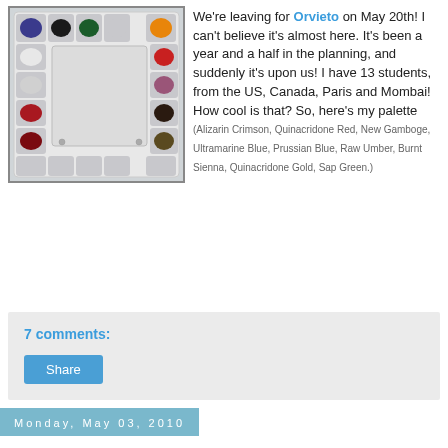[Figure (photo): A white plastic watercolor paint palette with multiple wells filled with various paint colors including dark blue/indigo, black, green, orange, red, purple, brown, dark red, and olive/dark colors arranged around a large rectangular central mixing area.]
We're leaving for Orvieto on May 20th! I can't believe it's almost here. It's been a year and a half in the planning, and suddenly it's upon us! I have 13 students, from the US, Canada, Paris and Mombai! How cool is that? So, here's my palette (Alizarin Crimson, Quinacridone Red, New Gamboge, Ultramarine Blue, Prussian Blue, Raw Umber, Burnt Sienna, Quinacridone Gold, Sap Green.)
7 comments:
Share
Monday, May 03, 2010